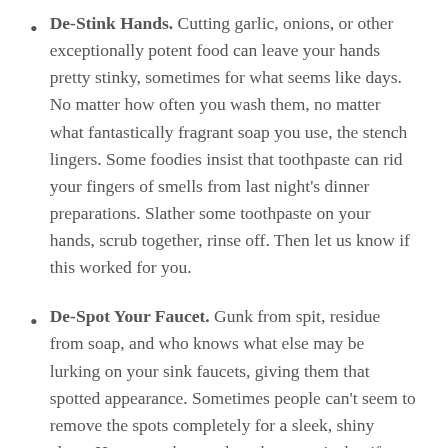De-Stink Hands. Cutting garlic, onions, or other exceptionally potent food can leave your hands pretty stinky, sometimes for what seems like days. No matter how often you wash them, no matter what fantastically fragrant soap you use, the stench lingers. Some foodies insist that toothpaste can rid your fingers of smells from last night's dinner preparations. Slather some toothpaste on your hands, scrub together, rinse off. Then let us know if this worked for you.
De-Spot Your Faucet. Gunk from spit, residue from soap, and who knows what else may be lurking on your sink faucets, giving them that spotted appearance. Sometimes people can't seem to remove the spots completely for a sleek, shiny clean. However, the word on the street is that if you wash the